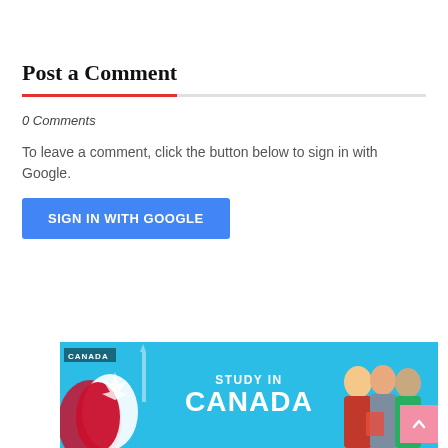Post a Comment
0 Comments
To leave a comment, click the button below to sign in with Google.
SIGN IN WITH GOOGLE
Featured Post
[Figure (photo): Study in Canada banner with Canadian flag and students; text reads 'CANADA', 'STUDY IN', 'CANADA']